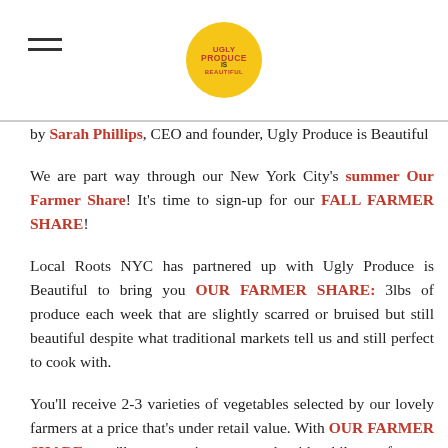[Figure (logo): Ugly Produce is Beautiful circular logo with yellow/green background and red text]
by Sarah Phillips, CEO and founder, Ugly Produce is Beautiful
We are part way through our New York City's summer Our Farmer Share! It's time to sign-up for our FALL FARMER SHARE!
Local Roots NYC has partnered up with Ugly Produce is Beautiful to bring you OUR FARMER SHARE: 3lbs of produce each week that are slightly scarred or bruised but still beautiful despite what traditional markets tell us and still perfect to cook with.
You'll receive 2-3 varieties of vegetables selected by our lovely farmers at a price that's under retail value. With OUR FARMER SHARE, you'll get extra items to cook with while our farmers can get more ou…